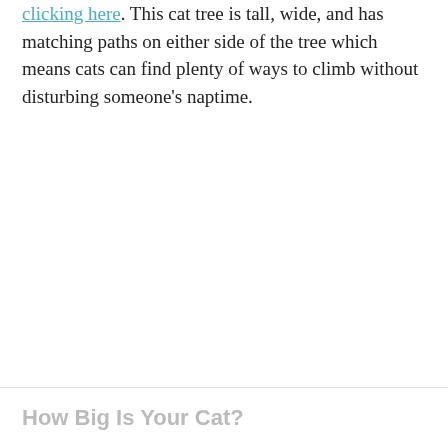clicking here. This cat tree is tall, wide, and has matching paths on either side of the tree which means cats can find plenty of ways to climb without disturbing someone's naptime.
How Big Is Your Cat?